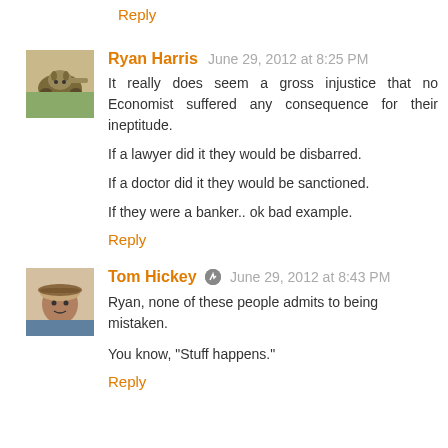Reply
Ryan Harris   June 29, 2012 at 8:25 PM
It really does seem a gross injustice that no Economist suffered any consequence for their ineptitude.

If a lawyer did it they would be disbarred.

If a doctor did it they would be sanctioned.

If they were a banker.. ok bad example.
Reply
Tom Hickey  [editor icon]  June 29, 2012 at 8:43 PM
Ryan, none of these people admits to being mistaken.

You know, "Stuff happens."
Reply